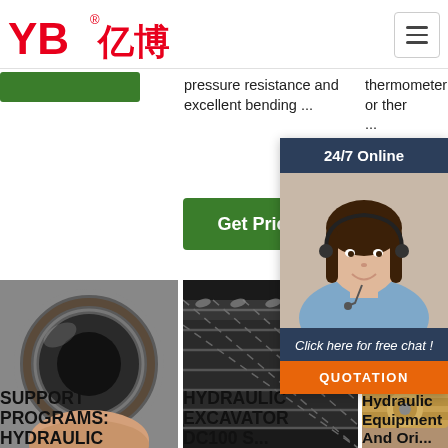[Figure (logo): YB亿博 logo in red with registered trademark symbol]
[Figure (illustration): Hamburger menu button top right]
pressure resistance and excellent bending ...
thermometer or ther...
[Figure (other): Green Get Price button]
[Figure (other): Partial green G button]
[Figure (photo): Customer service chat popup with 24/7 Online header, female agent photo, Click here for free chat! text, and QUOTATION orange button]
[Figure (photo): Close-up photo of hydraulic hose cross-section end]
[Figure (photo): Close-up photo of hydraulic hose exterior braid]
[Figure (photo): Partial hydraulic fitting photo]
[Figure (illustration): TOP arrow icon with orange text]
SUPPORT PROGRAMS: HYDRAULIC
HYDRAULIC EXCAVATOR DC100 S...
Hydraulic Equipment And Ori...